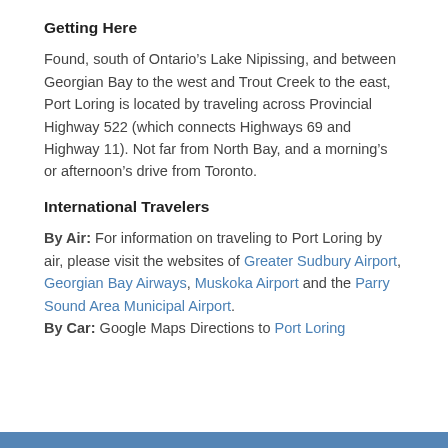Getting Here
Found, south of Ontario’s Lake Nipissing, and between Georgian Bay to the west and Trout Creek to the east, Port Loring is located by traveling across Provincial Highway 522 (which connects Highways 69 and Highway 11). Not far from North Bay, and a morning’s or afternoon’s drive from Toronto.
International Travelers
By Air: For information on traveling to Port Loring by air, please visit the websites of Greater Sudbury Airport, Georgian Bay Airways, Muskoka Airport and the Parry Sound Area Municipal Airport.
By Car: Google Maps Directions to Port Loring